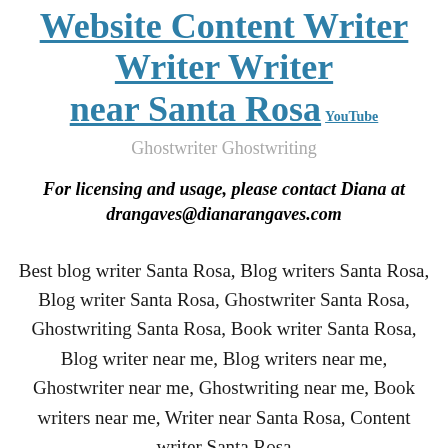Website Content Writer Writer Writer near Santa Rosa YouTube
Ghostwriter Ghostwriting
For licensing and usage, please contact Diana at drangaves@dianarangaves.com
Best blog writer Santa Rosa, Blog writers Santa Rosa, Blog writer Santa Rosa, Ghostwriter Santa Rosa, Ghostwriting Santa Rosa, Book writer Santa Rosa, Blog writer near me, Blog writers near me, Ghostwriter near me, Ghostwriting near me, Book writers near me, Writer near Santa Rosa, Content writer Santa Rosa